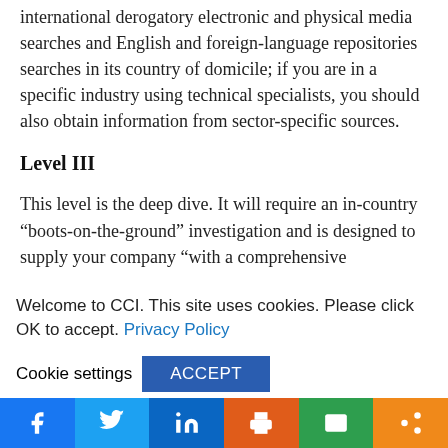international derogatory electronic and physical media searches and English and foreign-language repositories searches in its country of domicile; if you are in a specific industry using technical specialists, you should also obtain information from sector-specific sources.
Level III
This level is the deep dive. It will require an in-country “boots-on-the-ground” investigation and is designed to supply your company “with a comprehensive
Welcome to CCI. This site uses cookies. Please click OK to accept. Privacy Policy
Cookie settings   ACCEPT